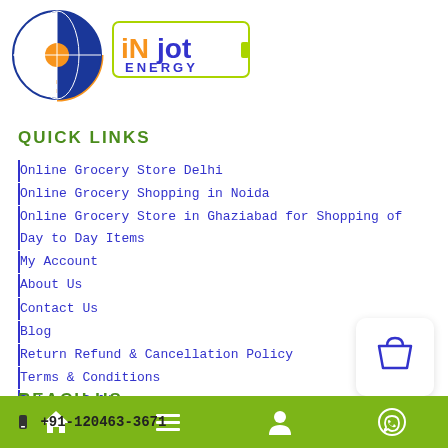[Figure (logo): Inkjot Energy logo with a circular globe/wifi icon and text 'iNjot ENERGY' in a rounded rectangle]
QUICK LINKS
Online Grocery Store Delhi
Online Grocery Shopping in Noida
Online Grocery Store in Ghaziabad for Shopping of Day to Day Items
My Account
About Us
Contact Us
Blog
Return Refund & Cancellation Policy
Terms & Conditions
Privacy Policy
Reach Us
+91-120463-3671